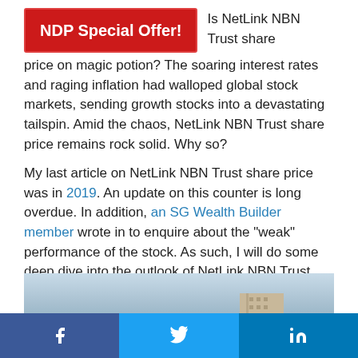NDP Special Offer! Is NetLink NBN Trust share price on magic potion?
The soaring interest rates and raging inflation had walloped global stock markets, sending growth stocks into a devastating tailspin. Amid the chaos, NetLink NBN Trust share price remains rock solid. Why so?
My last article on NetLink NBN Trust share price was in 2019. An update on this counter is long overdue. In addition, an SG Wealth Builder member wrote in to enquire about the “weak” performance of the stock. As such, I will do some deep dive into the outlook of NetLink NBN Trust share price in 2022.
[Figure (photo): Cityscape photograph showing Singapore buildings against a cloudy sky]
f  t  in